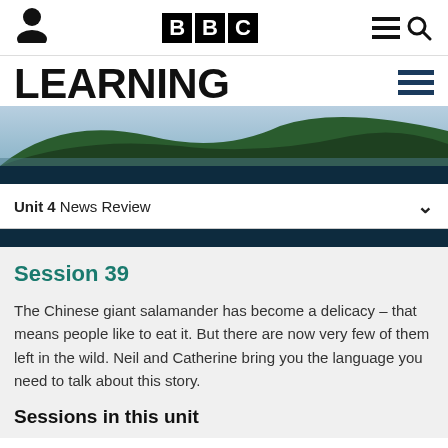BBC Learning English
LEARNING ENGLISH
Unit 4 News Review
Session 39
The Chinese giant salamander has become a delicacy – that means people like to eat it. But there are now very few of them left in the wild. Neil and Catherine bring you the language you need to talk about this story.
Sessions in this unit